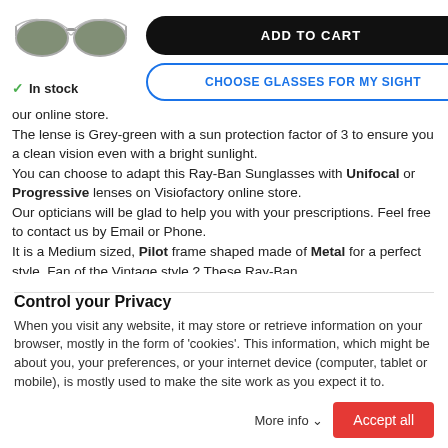[Figure (photo): Ray-Ban aviator sunglasses with metal frame and grey-green lenses]
In stock
ADD TO CART
CHOOSE GLASSES FOR MY SIGHT
our online store.
The lense is Grey-green with a sun protection factor of 3 to ensure you a clean vision even with a bright sunlight.
You can choose to adapt this Ray-Ban Sunglasses with Unifocal or Progressive lenses on Visiofactory online store.
Our opticians will be glad to help you with your prescriptions. Feel free to contact us by Email or Phone.
It is a Medium sized, Pilot frame shaped made of Metal for a perfect style. Fan of the Vintage style ? These Ray-Ban
Sunglasses are the perfect accessory.
...Ray-Ban Aviator Metal RB3025 are designed for...
Control your Privacy
When you visit any website, it may store or retrieve information on your browser, mostly in the form of 'cookies'. This information, which might be about you, your preferences, or your internet device (computer, tablet or mobile), is mostly used to make the site work as you expect it to.
More info
Accept all